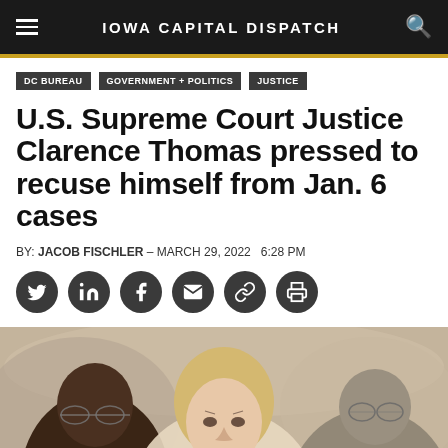Iowa Capital Dispatch
DC BUREAU
GOVERNMENT + POLITICS
JUSTICE
U.S. Supreme Court Justice Clarence Thomas pressed to recuse himself from Jan. 6 cases
BY: JACOB FISCHLER - MARCH 29, 2022  6:28 PM
[Figure (photo): Photo of people including a woman with blonde hair in focus, flanked by two older individuals, taken at what appears to be a formal hearing or event.]